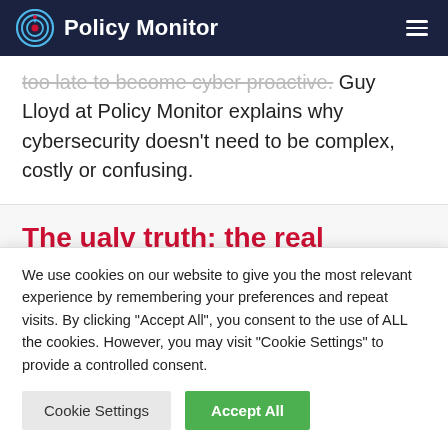Policy Monitor
too late to become cyber proactive. Guy Lloyd at Policy Monitor explains why cybersecurity doesn't need to be complex, costly or confusing.
The ualv truth: the real
We use cookies on our website to give you the most relevant experience by remembering your preferences and repeat visits. By clicking "Accept All", you consent to the use of ALL the cookies. However, you may visit "Cookie Settings" to provide a controlled consent.